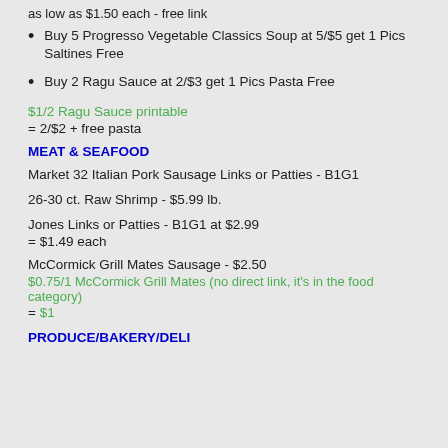as low as $1.50 each - free link
Buy 5 Progresso Vegetable Classics Soup at 5/$5 get 1 Pics Saltines Free
Buy 2 Ragu Sauce at 2/$3 get 1 Pics Pasta Free
$1/2 Ragu Sauce printable
= 2/$2 + free pasta
MEAT & SEAFOOD
Market 32 Italian Pork Sausage Links or Patties - B1G1
26-30 ct. Raw Shrimp - $5.99 lb.
Jones Links or Patties - B1G1 at $2.99
= $1.49 each
McCormick Grill Mates Sausage - $2.50
$0.75/1 McCormick Grill Mates (no direct link, it's in the food category)
= $1
PRODUCE/BAKERY/DELI